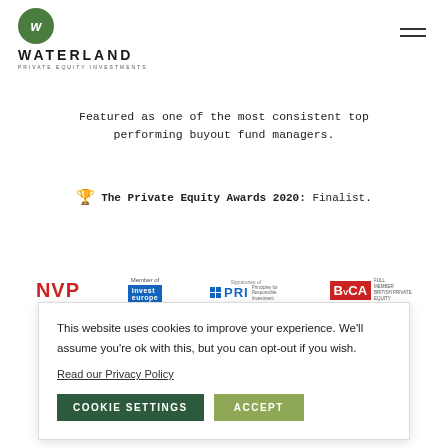[Figure (logo): Waterland Private Equity Investments logo — green circle with W, bold uppercase WATERLAND text, subtitle PRIVATE EQUITY INVESTMENTS]
Featured as one of the most consistent top performing buyout fund managers.
🏆 The Private Equity Awards 2020: Finalist.
[Figure (logo): Row of partner logos: NVP (red), Member of Invest Europe (blue box), Signatories of PRI Principles for Responsible Investment, BVCA member logo]
This website uses cookies to improve your experience. We'll assume you're ok with this, but you can opt-out if you wish.
Read our Privacy Policy
COOKIE SETTINGS   ACCEPT